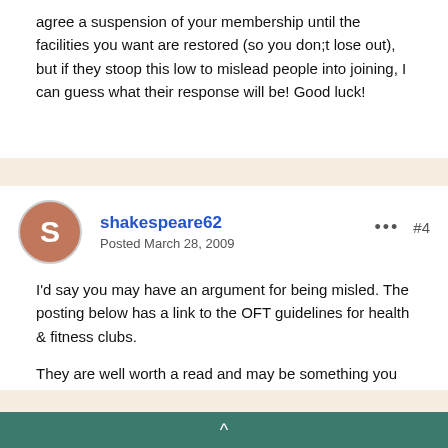agree a suspension of your membership until the facilities you want are restored (so you don;t lose out), but if they stoop this low to mislead people into joining, I can guess what their response will be! Good luck!
shakespeare62
Posted March 28, 2009
I'd say you may have an argument for being misled. The posting below has a link to the OFT guidelines for health & fitness clubs.
They are well worth a read and may be something you can quote to the Health Club in your dispute or even threaten to report them.
http://www.consumeractiongroup.co.uk/forum/legal-issues/173689-gym-membership.html#post1882183
^